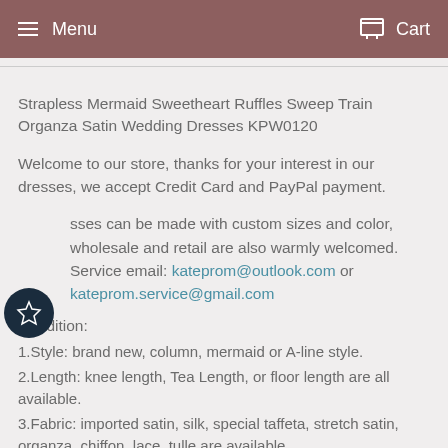Menu  Cart
Strapless Mermaid Sweetheart Ruffles Sweep Train Organza Satin Wedding Dresses KPW0120
Welcome to our store, thanks for your interest in our dresses, we accept Credit Card and PayPal payment.
sses can be made with custom sizes and color, wholesale and retail are also warmly welcomed. Service email: kateprom@outlook.com or kateprom.service@gmail.com
Condition:
1.Style: brand new, column, mermaid or A-line style.
2.Length: knee length, Tea Length, or floor length are all available.
3.Fabric: imported satin, silk, special taffeta, stretch satin, organza, chiffon, lace, tulle are available.